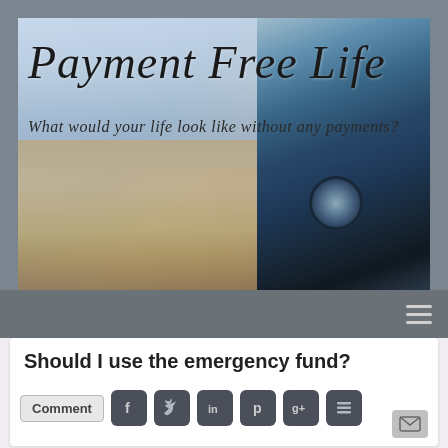[Figure (screenshot): Website banner for 'Payment Free Life' blog. Shows a scenic coastal/landscape background with a coin-operated binoculars viewer on the right side. The blog title 'Payment Free Life' is displayed in large italic script font, with subtitle 'What would your life look like without any payments?' below.]
Should I use the emergency fund?
[Figure (screenshot): Social sharing buttons row: Comment button, Facebook, Twitter, LinkedIn, Pinterest, Google+, Buffer icons, and an email/envelope icon button.]